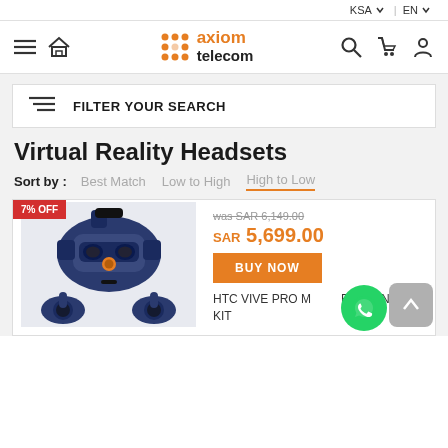KSA | EN
[Figure (logo): Axiom Telecom logo with orange grid icon and brand name]
FILTER YOUR SEARCH
Virtual Reality Headsets
Sort by : Best Match  Low to High  High to Low
[Figure (photo): HTC Vive Pro VR headset with controllers, 7% OFF badge]
was SAR 6,149.00
SAR 5,699.00
BUY NOW
HTC VIVE PRO METEOR EDITION FULL KIT